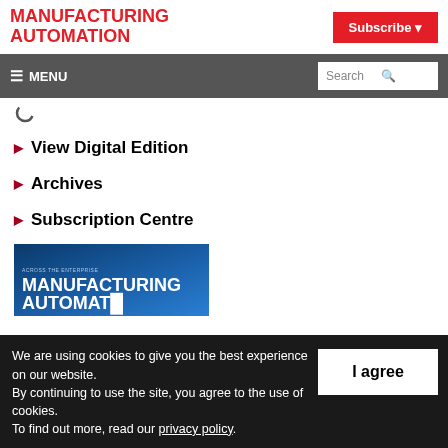MANUFACTURING AUTOMATION
Subscribe
≡ MENU | Search
▶ View Digital Edition
▶ Archives
▶ Subscription Centre
[Figure (photo): Partial view of Manufacturing Automation magazine cover with blue background]
We are using cookies to give you the best experience on our website. By continuing to use the site, you agree to the use of cookies. To find out more, read our privacy policy.
I agree